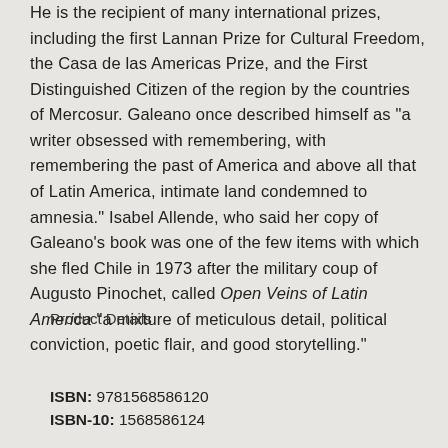He is the recipient of many international prizes, including the first Lannan Prize for Cultural Freedom, the Casa de las Americas Prize, and the First Distinguished Citizen of the region by the countries of Mercosur. Galeano once described himself as "a writer obsessed with remembering, with remembering the past of America and above all that of Latin America, intimate land condemned to amnesia." Isabel Allende, who said her copy of Galeano's book was one of the few items with which she fled Chile in 1973 after the military coup of Augusto Pinochet, called Open Veins of Latin America "a mixture of meticulous detail, political conviction, poetic flair, and good storytelling."
Product Details
ISBN: 9781568586120
ISBN-10: 1568586124